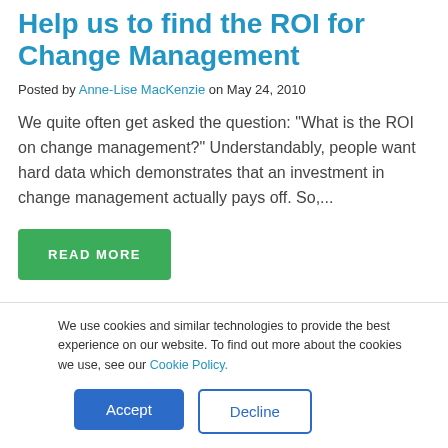Help us to find the ROI for Change Management
Posted by Anne-Lise MacKenzie on May 24, 2010
We quite often get asked the question: "What is the ROI on change management?" Understandably, people want hard data which demonstrates that an investment in change management actually pays off. So,...
READ MORE
We use cookies and similar technologies to provide the best experience on our website. To find out more about the cookies we use, see our Cookie Policy.
Accept
Decline